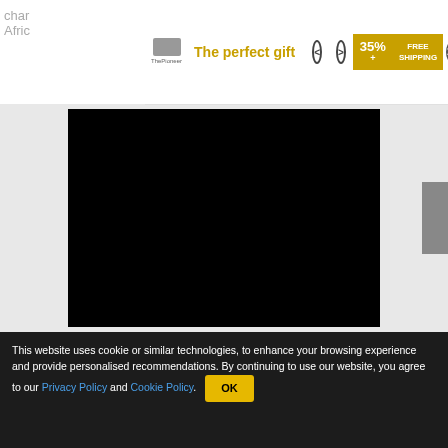char
Afric
[Figure (screenshot): Advertisement banner for 'The perfect gift' with logo, bottle image, navigation arrows, bowl of food, 35% off and FREE SHIPPING offer with close button]
[Figure (screenshot): Black video player area embedded in gray background with sidebar tab on the right]
This website uses cookie or similar technologies, to enhance your browsing experience and provide personalised recommendations. By continuing to use our website, you agree to our Privacy Policy and Cookie Policy. OK